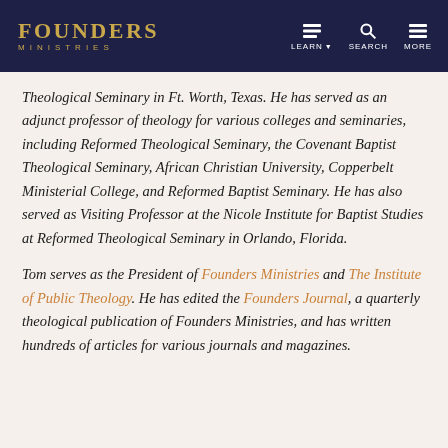FOUNDERS MINISTRIES — LEARN | SEARCH | MORE
Theological Seminary in Ft. Worth, Texas. He has served as an adjunct professor of theology for various colleges and seminaries, including Reformed Theological Seminary, the Covenant Baptist Theological Seminary, African Christian University, Copperbelt Ministerial College, and Reformed Baptist Seminary. He has also served as Visiting Professor at the Nicole Institute for Baptist Studies at Reformed Theological Seminary in Orlando, Florida.
Tom serves as the President of Founders Ministries and The Institute of Public Theology. He has edited the Founders Journal, a quarterly theological publication of Founders Ministries, and has written hundreds of articles for various journals and magazines.